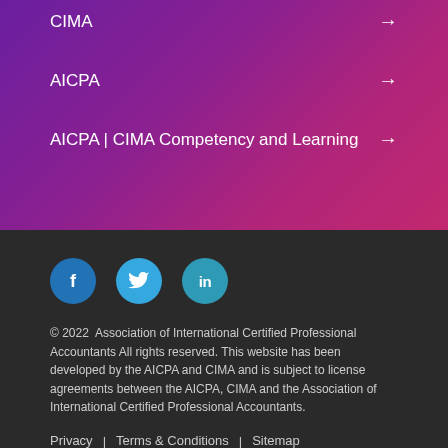CIMA →
AICPA →
AICPA | CIMA Competency and Learning →
[Figure (illustration): Social media icons: Facebook (f), Twitter (bird), LinkedIn (in) — circular blue buttons]
© 2022 Association of International Certified Professional Accountants All rights reserved. This website has been developed by the AICPA and CIMA and is subject to license agreements between the AICPA, CIMA and the Association of International Certified Professional Accountants.
Privacy | Terms & Conditions | Sitemap